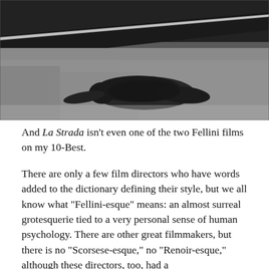[Figure (photo): Black and white photograph of a person lying face-down on a sandy or gravelly ground, with a road or path visible in the upper background. The image has high contrast black and white tones.]
And La Strada isn't even one of the two Fellini films on my 10-Best.
There are only a few film directors who have words added to the dictionary defining their style, but we all know what “Fellini-esque” means: an almost surreal grotesquerie tied to a very personal sense of human psychology. There are other great filmmakers, but there is no “Scorsese-esque,” no “Renoir-esque,” although these directors, too, had a